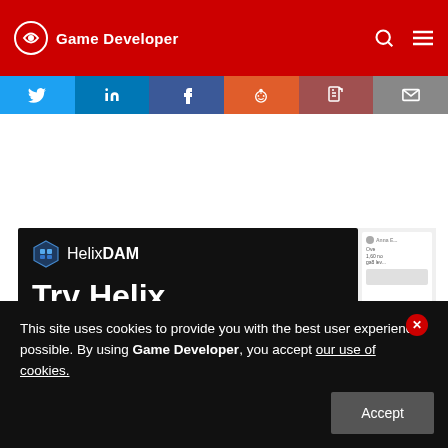Game Developer
[Figure (screenshot): Social share buttons: Twitter, LinkedIn, Facebook, Reddit, PDF, Email]
[Figure (infographic): HelixDAM advertisement: Try Helix DAM Free. No commitment or setup needed. Get access to our sandbox for 14 days. TRY IT FREE button. Robot mascot image. Sidebar with user interface cards.]
This site uses cookies to provide you with the best user experience possible. By using Game Developer, you accept our use of cookies.